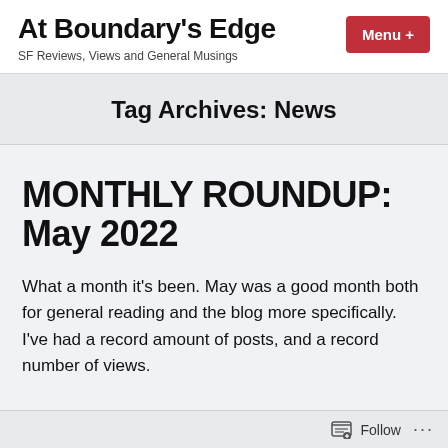At Boundary's Edge
SF Reviews, Views and General Musings
Tag Archives: News
MONTHLY ROUNDUP: May 2022
What a month it's been. May was a good month both for general reading and the blog more specifically. I've had a record amount of posts, and a record number of views.